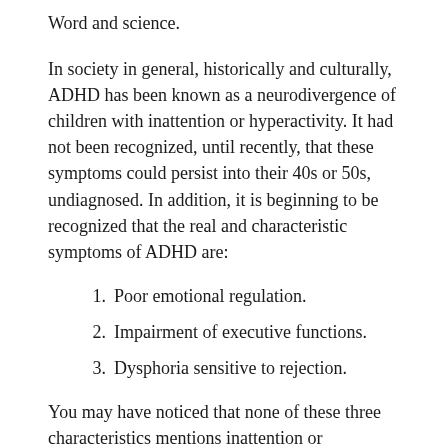Word and science.
In society in general, historically and culturally, ADHD has been known as a neurodivergence of children with inattention or hyperactivity. It had not been recognized, until recently, that these symptoms could persist into their 40s or 50s, undiagnosed. In addition, it is beginning to be recognized that the real and characteristic symptoms of ADHD are:
1. Poor emotional regulation.
2. Impairment of executive functions.
3. Dysphoria sensitive to rejection.
You may have noticed that none of these three characteristics mentions inattention or hyperactivity. It is being recognized that the ADHD